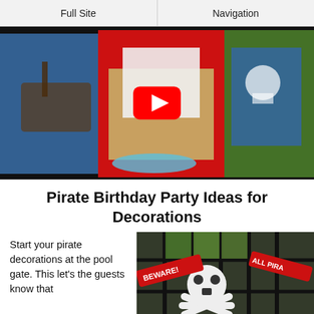Full Site | Navigation
[Figure (screenshot): YouTube video thumbnail showing pirate birthday party decorations including pirate ship cards and party bags, with a red YouTube play button overlay]
Pirate Birthday Party Ideas for Decorations
Start your pirate decorations at the pool gate. This let's the guests know that
[Figure (photo): Photo of pirate-themed decorations on a gate, including a skull and crossbones and banners reading 'BEWARE!' and 'ALL PIRA...']